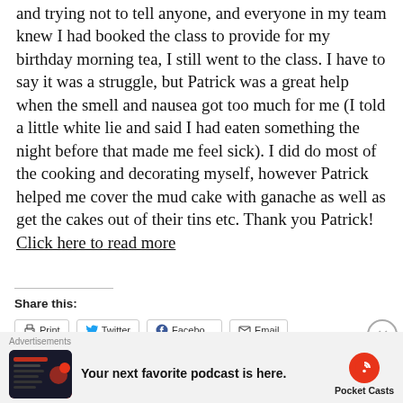and trying not to tell anyone, and everyone in my team knew I had booked the class to provide for my birthday morning tea, I still went to the class. I have to say it was a struggle, but Patrick was a great help when the smell and nausea got too much for me (I told a little white lie and said I had eaten something the night before that made me feel sick). I did do most of the cooking and decorating myself, however Patrick helped me cover the mud cake with ganache as well as get the cakes out of their tins etc. Thank you Patrick!  Click here to read more
Share this:
[Figure (screenshot): Share buttons row: Print, Twitter, Facebook, Email (partially visible), and a close/dismiss button (circle with X)]
[Figure (infographic): Advertisement banner: 'Advertisements' label, app screenshot thumbnail, text 'Your next favorite podcast is here.', Pocket Casts logo with red circular icon]